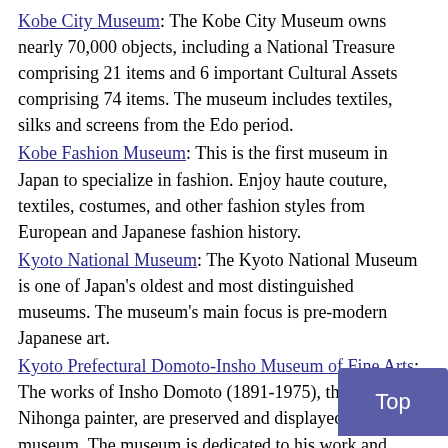Kobe City Museum: The Kobe City Museum owns nearly 70,000 objects, including a National Treasure comprising 21 items and 6 important Cultural Assets comprising 74 items. The museum includes textiles, silks and screens from the Edo period.
Kobe Fashion Museum: This is the first museum in Japan to specialize in fashion. Enjoy haute couture, textiles, costumes, and other fashion styles from European and Japanese fashion history.
Kyoto National Museum: The Kyoto National Museum is one of Japan's oldest and most distinguished museums. The museum's main focus is pre-modern Japanese art.
Kyoto Prefectural Domoto-Insho Museum of Fine Arts: The works of Insho Domoto (1891-1975), the great Nihonga painter, are preserved and displayed in the museum. The museum is dedicated to his work and features his traditional Japanese paintings to abstract paintings.
Mie Prefectural Art Museum: The Mie Prefectural Art Museum...